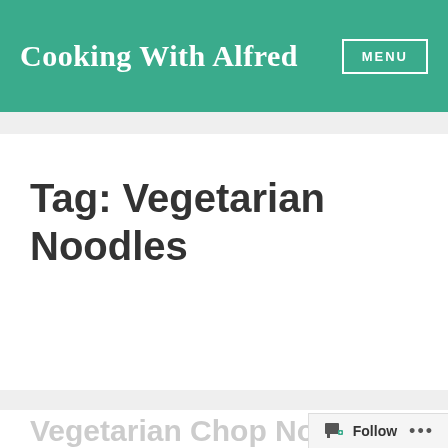Cooking With Alfred | MENU
Tag: Vegetarian Noodles
Vegetarian Chop Noo...